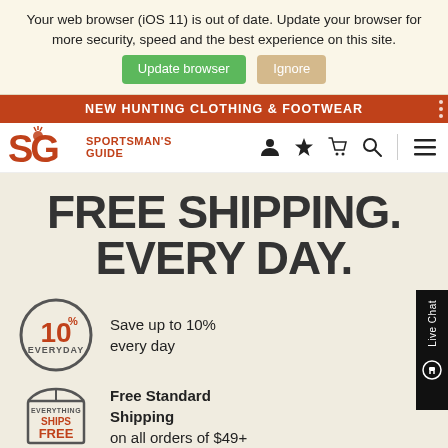Your web browser (iOS 11) is out of date. Update your browser for more security, speed and the best experience on this site.
Update browser   Ignore
NEW HUNTING CLOTHING & FOOTWEAR
[Figure (logo): Sportsman's Guide logo with SG letters and antler icon in orange]
[Figure (infographic): Navigation icons: person, star, cart, search, hamburger menu]
FREE SHIPPING. EVERY DAY.
[Figure (infographic): Circle badge with 10% EVERYDAY text in orange and grey]
Save up to 10% every day
[Figure (infographic): Box icon with EVERYTHING SHIPS FREE text in orange]
Free Standard Shipping on all orders of $49+